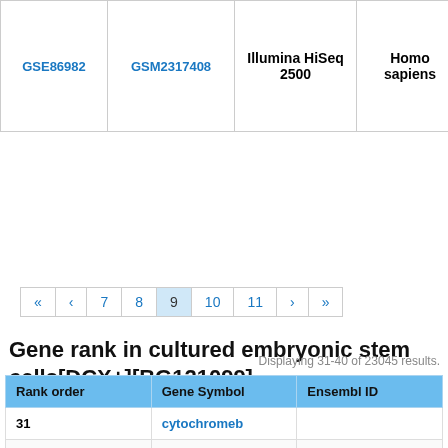|  |  | Illumina HiSeq 2500 | Homo sapiens | 54Dp4_A03_seq |
| --- | --- | --- | --- | --- |
| GSE86982 | GSM2317408 | Illumina HiSeq 2500 | Homo sapiens | 54Dp4_A03_seq |
« ‹ 7 8 9 10 11 › »
Gene rank in cultured embryonic stem cells[DCX+][BG121099]
Displaying 31-40 of 23045 results.
| Rank order | Gene Symbol | Ensembl ID |
| --- | --- | --- |
| 31 | cytochromeb |  |
| 32 | RPL9 | ENSG00000163682 |
| 33 | RPL5 | ENSG00000122406 |
| 34 | MLLT11 | ENSG00000213190 |